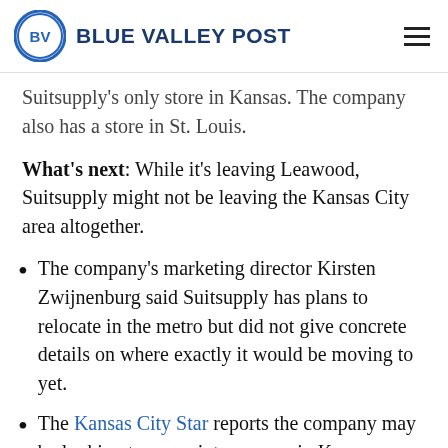Blue Valley Post
Suitsupply's only store in Kansas. The company also has a store in St. Louis.
What's next: While it's leaving Leawood, Suitsupply might not be leaving the Kansas City area altogether.
The company's marketing director Kirsten Zwijnenburg said Suitsupply has plans to relocate in the metro but did not give concrete details on where exactly it would be moving to yet.
The Kansas City Star reports the company may be looking to move into a space in Kansas City's Crossroads Arts District...